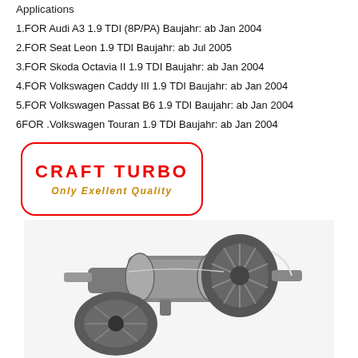Applications
1.FOR Audi A3 1.9 TDI (8P/PA) Baujahr: ab Jan 2004
2.FOR Seat Leon 1.9 TDI Baujahr: ab Jul 2005
3.FOR Skoda Octavia II 1.9 TDI Baujahr: ab Jan 2004
4.FOR Volkswagen Caddy III 1.9 TDI Baujahr: ab Jan 2004
5.FOR Volkswagen Passat B6 1.9 TDI Baujahr: ab Jan 2004
6FOR .Volkswagen Touran 1.9 TDI Baujahr: ab Jan 2004
[Figure (logo): Craft Turbo logo with red border rounded rectangle, red bold text CRAFT TURBO, orange italic tagline ONLY EXELLENT QUALITY]
[Figure (photo): Close-up photo of a turbocharger cartridge (CHRA) showing compressor wheel, turbine shaft, and bearing housing components in metallic grey/black]